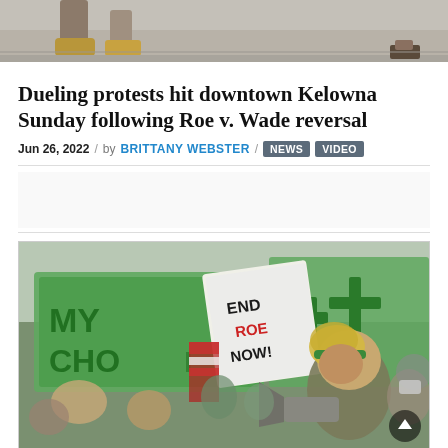[Figure (photo): Top cropped photo showing legs/feet of protesters at a street-level protest event]
Dueling protests hit downtown Kelowna Sunday following Roe v. Wade reversal
Jun 26, 2022 / by BRITTANY WEBSTER / NEWS VIDEO
[Figure (photo): Crowd of protesters at a rally holding green banners reading 'My Choice' and a sign reading 'End Roe Now', with a person wearing a green headband in the foreground holding a megaphone]